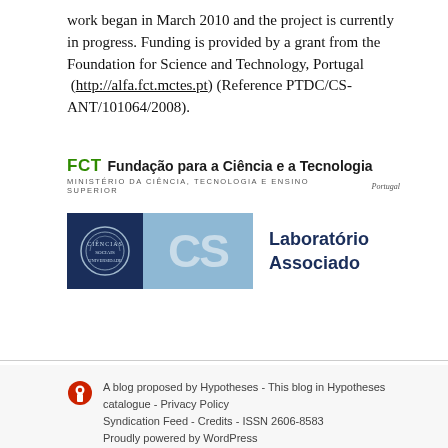work began in March 2010 and the project is currently in progress. Funding is provided by a grant from the Foundation for Science and Technology, Portugal (http://alfa.fct.mctes.pt) (Reference PTDC/CS-ANT/101064/2008).
[Figure (logo): FCT - Fundação para a Ciência e a Tecnologia logo. Green bold 'FCT' abbreviation followed by full name in bold. Subtitle: MINISTÉRIO DA CIÊNCIA, TECNOLOGIA E ENSINO SUPERIOR with Portugal italic.]
[Figure (logo): CS Laboratório Associado logo: dark navy square with circular seal emblem, light blue rectangle with large 'CS' letters, text 'Laboratório Associado' in navy.]
A blog proposed by Hypotheses - This blog in Hypotheses catalogue - Privacy Policy Syndication Feed - Credits - ISSN 2606-8583 Proudly powered by WordPress